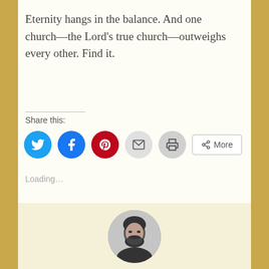Eternity hangs in the balance. And one church—the Lord's true church—outweighs every other. Find it.
Share this:
[Figure (infographic): Share buttons row: Twitter (blue circle), Facebook (blue circle), Pinterest (red circle), Email (gray circle), Print (gray circle), More button (outlined rectangle)]
Loading...
[Figure (photo): Black and white circular portrait photo of a bearded man, cropped to show head and upper face]